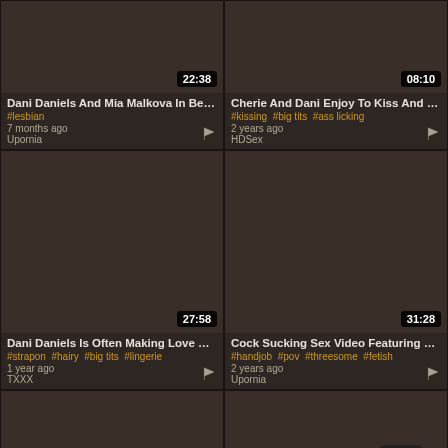[Figure (screenshot): Video thumbnail dark background, duration badge 22:38]
Dani Daniels And Mia Malkova In Bes...
#lesbian
7 months ago
Upornia
[Figure (screenshot): Video thumbnail dark background, duration badge 08:10]
Cherie And Dani Enjoy To Kiss And Sl...
#kissing #big tits #ass licking
2 years ago
HDSex
[Figure (screenshot): Video thumbnail dark background, duration badge 27:58]
Dani Daniels Is Often Making Love Wi...
#strapon #hairy #big tits #lingerie
1 year ago
TXXX
[Figure (screenshot): Video thumbnail dark background, duration badge 31:28]
Cock Sucking Sex Video Featuring D...
#handjob #pov #threesome #fetish
2 years ago
Upornia
[Figure (screenshot): Video thumbnail dark background, like badge 72%, duration badge 08:00]
[Figure (screenshot): Video thumbnail dark background with scroll-to-top button, duration badge 36:16]